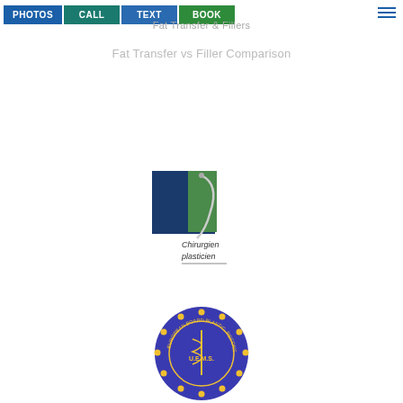Fat Transfer vs Filler Comparison
[Figure (logo): Chirurgien plasticien logo with needle and green/blue square design]
[Figure (logo): UEMS European Board Plastic Reconstructive & Aesthetic Surgery seal/badge]